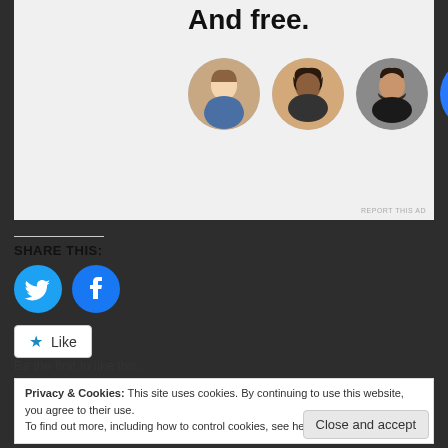[Figure (screenshot): Ad banner with bold text 'And free.' and four circular avatars (three profile photos and one blue plus button)]
REPORT THIS AD
SHARE THIS:
[Figure (illustration): Twitter and Facebook circular share icons in cyan/blue]
Like
Be the first to like this.
Privacy & Cookies: This site uses cookies. By continuing to use this website, you agree to their use.
To find out more, including how to control cookies, see here: Cookie Policy
Close and accept